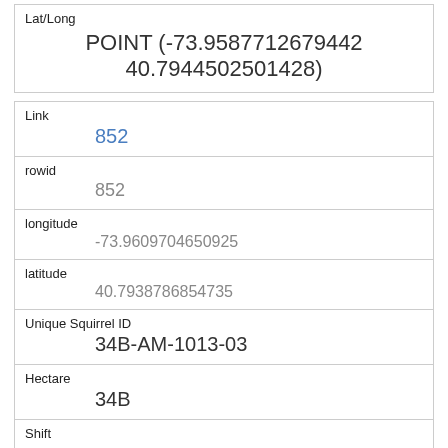| Lat/Long |
| --- |
| POINT (-73.9587712679442 40.7944502501428) |
| Link | rowid | longitude | latitude | Unique Squirrel ID | Hectare | Shift | Date | Hectare Squirrel Number |
| --- | --- | --- | --- | --- | --- | --- | --- | --- |
| 852 |
| 852 |
| -73.9609704650925 |
| 40.7938786854735 |
| 34B-AM-1013-03 |
| 34B |
| AM |
| 10132018 |
|  |